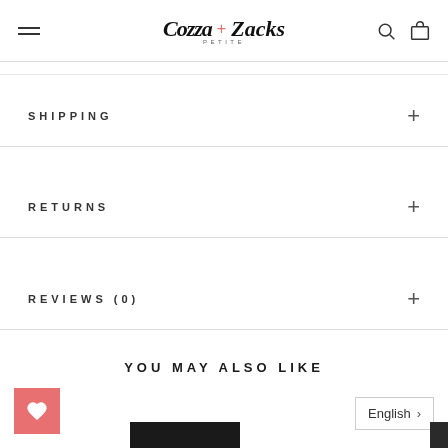[Figure (logo): Cozza Petite + Zacks brand logo in stylized script]
SHIPPING
RETURNS
REVIEWS (0)
YOU MAY ALSO LIKE